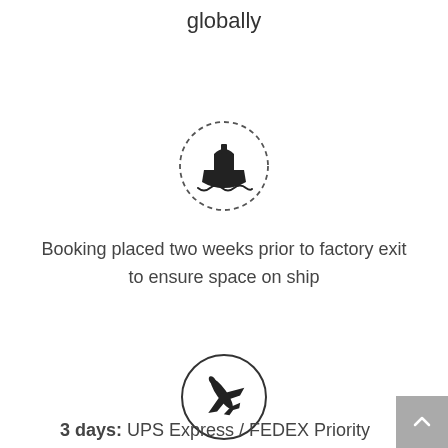globally
[Figure (illustration): Dashed circle icon containing a ship/boat with waves beneath it]
Booking placed two weeks prior to factory exit to ensure space on ship
[Figure (illustration): Solid circle icon containing an airplane silhouette]
3 days: UPS Express / FEDEX Priority